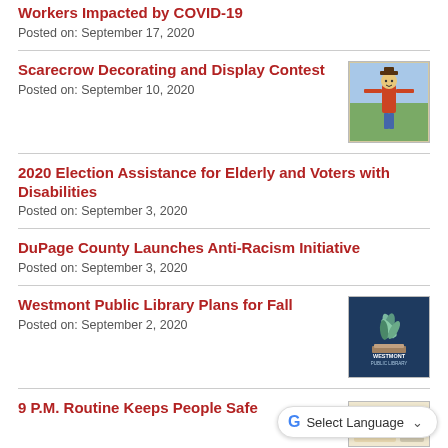Workers Impacted by COVID-19
Posted on: September 17, 2020
Scarecrow Decorating and Display Contest
Posted on: September 10, 2020
[Figure (photo): Photo of a scarecrow figure dressed in colorful clothing]
2020 Election Assistance for Elderly and Voters with Disabilities
Posted on: September 3, 2020
DuPage County Launches Anti-Racism Initiative
Posted on: September 3, 2020
Westmont Public Library Plans for Fall
Posted on: September 2, 2020
[Figure (logo): Westmont Public Library logo with plant/leaf illustration on dark blue background]
9 P.M. Routine Keeps People Safe
[Figure (photo): Thumbnail image related to 9 PM Routine article]
Select Language